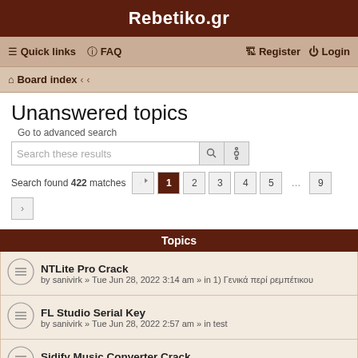Rebetiko.gr
≡ Quick links  ? FAQ    Register  Login
Board index ‹ ‹
Unanswered topics
Go to advanced search
Search these results
Search found 422 matches
Topics
NTLite Pro Crack
by sanivirk » Tue Jun 28, 2022 3:14 am » in 1) Γενικά περί ρεμπέτικου
FL Studio Serial Key
by sanivirk » Tue Jun 28, 2022 2:57 am » in test
Sidify Music Converter Crack
by sanivirk » Tue Jun 28, 2022 2:41 am » in test
ApowerPDF Crack
by sanivirk » Tue Jun 28, 2022 2:24 am » in test
WavePad Sound Editor Crack
by sanivirk » Tue Jun 28, 2022 2:07 am » in 2) Πρόσωπα